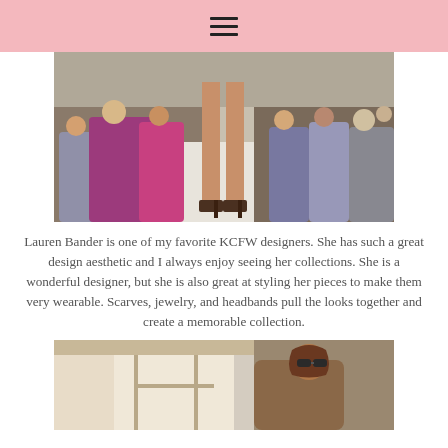☰
[Figure (photo): Fashion runway show photo showing model's legs and high heels on a white runway catwalk, with a seated audience of women on both sides watching the show.]
Lauren Bander is one of my favorite KCFW designers. She has such a great design aesthetic and I always enjoy seeing her collections. She is a wonderful designer, but she is also great at styling her pieces to make them very wearable. Scarves, jewelry, and headbands pull the looks together and create a memorable collection.
[Figure (photo): Photo of a woman with brown hair and sunglasses, taken indoors in a bright room with tall windows. Appears to be taken at a fashion show venue.]